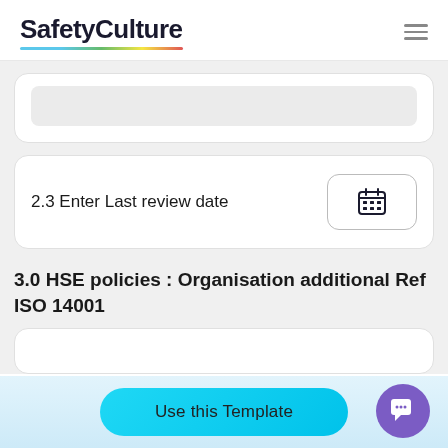SafetyCulture
2.3 Enter Last review date
3.0 HSE policies : Organisation additional Ref ISO 14001
Use this Template